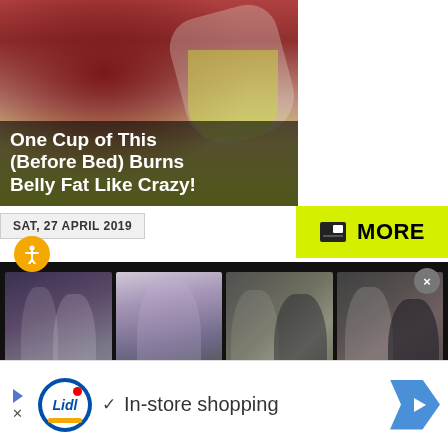[Figure (illustration): Illustrated cartoon of a woman drinking from a cup/bottle, with yellow-green liquid, over a dark background with the overlay ad text]
One Cup of This (Before Bed) Burns Belly Fat Like Crazy!
SAT, 27 APRIL 2019
[Figure (other): Yellow MORE button with image gallery icon]
[Figure (photo): Dark strip with four celebrity photos side by side]
[Figure (other): Bottom advertisement bar: Lidl logo with checkmark and 'In-store shopping' text, navigation arrow]
In-store shopping